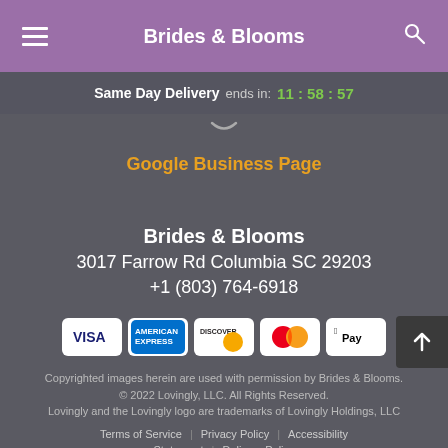Brides & Blooms
Same Day Delivery ends in: 11:58:57
Google Business Page
Brides & Blooms
3017 Farrow Rd Columbia SC 29203
+1 (803) 764-6918
[Figure (other): Payment method icons: Visa, American Express, Discover, Mastercard, Apple Pay]
Copyrighted images herein are used with permission by Brides & Blooms.
© 2022 Lovingly, LLC. All Rights Reserved.
Lovingly and the Lovingly logo are trademarks of Lovingly Holdings, LLC
Terms of Service | Privacy Policy | Accessibility Statement | Delivery Policy